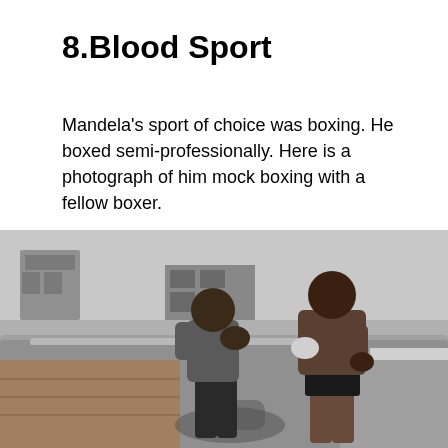8.Blood Sport
Mandela's sport of choice was boxing. He boxed semi-professionally. Here is a photograph of him mock boxing with a fellow boxer.
[Figure (photo): Black and white photograph of two men mock boxing on a rooftop. One man faces away from the camera in a defensive stance, the other (Mandela) faces the camera in a fighting stance. Buildings and pipes are visible in the background.]